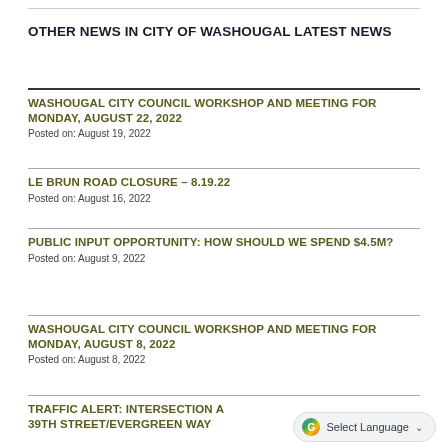OTHER NEWS IN CITY OF WASHOUGAL LATEST NEWS
WASHOUGAL CITY COUNCIL WORKSHOP AND MEETING FOR MONDAY, AUGUST 22, 2022
Posted on: August 19, 2022
LE BRUN ROAD CLOSURE – 8.19.22
Posted on: August 16, 2022
PUBLIC INPUT OPPORTUNITY: HOW SHOULD WE SPEND $4.5M?
Posted on: August 9, 2022
WASHOUGAL CITY COUNCIL WORKSHOP AND MEETING FOR MONDAY, AUGUST 8, 2022
Posted on: August 8, 2022
TRAFFIC ALERT: INTERSECTION AT 39TH STREET/EVERGREEN WAY